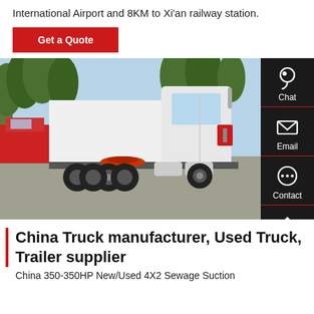International Airport and 8KM to Xi'an railway station.
Get a Quote
[Figure (photo): White semi-truck / tractor unit parked in an outdoor yard with trees in the background. A red truck is visible on the left. The truck has tandem rear axles and a prominent fifth wheel coupling.]
China Truck manufacturer, Used Truck, Trailer supplier
China 350-350HP New/Used 4X2 Sewage Suction